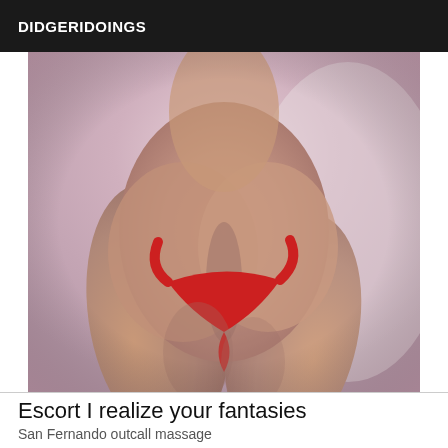DIDGERIDOINGS
[Figure (photo): Close-up photo of a person from behind wearing a red thong bikini bottom, with a warm pinkish-purple tinted background.]
Escort I realize your fantasies
San Fernando outcall massage